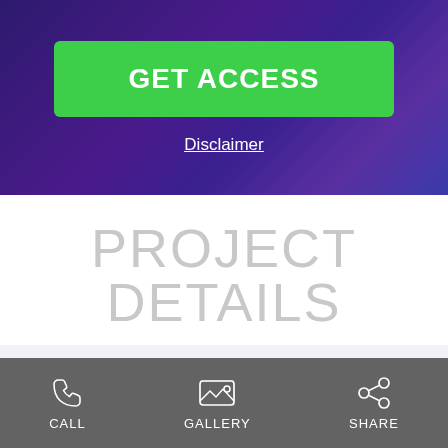GET ACCESS
Disclaimer
PROJECT DETAILS
| Icon | Field | Value |
| --- | --- | --- |
| [tag icon] | Project Name: | Bijou on Bloor Condos |
| [builder icon] | Builders: | Plaza |
| [status icon] | Project Status: | Pre-Construction |
| [calendar icon] | Approx | 2022 |
CALL  GALLERY  SHARE